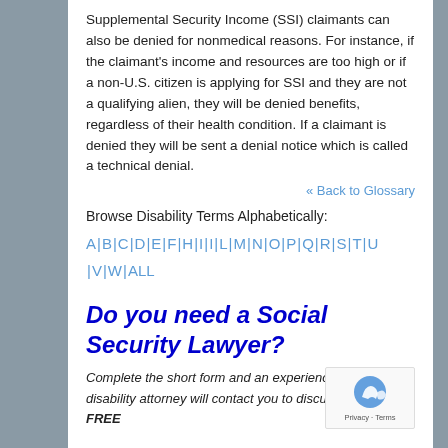Supplemental Security Income (SSI) claimants can also be denied for nonmedical reasons. For instance, if the claimant's income and resources are too high or if a non-U.S. citizen is applying for SSI and they are not a qualifying alien, they will be denied benefits, regardless of their health condition. If a claimant is denied they will be sent a denial notice which is called a technical denial.
« Back to Glossary
Browse Disability Terms Alphabetically:
A | B | C | D | E | F | H | I | I | L | M | N | O | P | Q | R | S | T | U | V | W | ALL
Do you need a Social Security Lawyer?
Complete the short form and an experienced personal disability attorney will contact you to discuss your case FREE